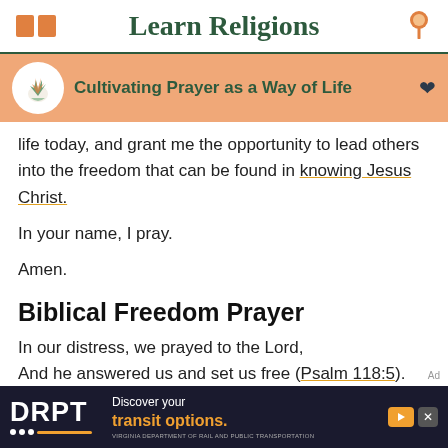Learn Religions
Cultivating Prayer as a Way of Life
life today, and grant me the opportunity to lead others into the freedom that can be found in knowing Jesus Christ.
In your name, I pray.
Amen.
Biblical Freedom Prayer
In our distress, we prayed to the Lord,
And he answered us and set us free (Psalm 118:5).
[Figure (screenshot): DRPT advertisement banner - Discover your transit options. Virginia Department of Rail and Public Transportation.]